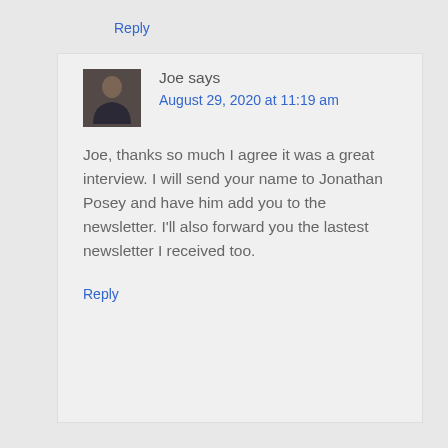Reply
Joe says
August 29, 2020 at 11:19 am
[Figure (photo): Avatar photo of Joe, an older man]
Joe, thanks so much I agree it was a great interview. I will send your name to Jonathan Posey and have him add you to the newsletter. I'll also forward you the lastest newsletter I received too.
Reply